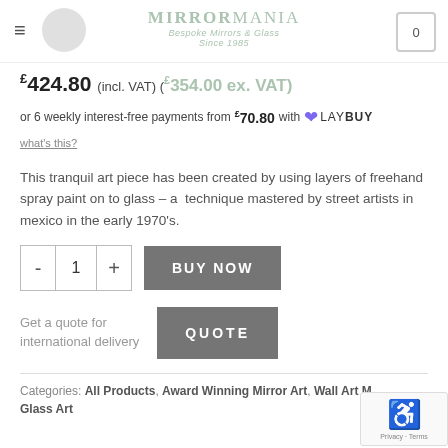MirrorMania – Bespoke Mirrors & Glass Since 1985
£424.80 (incl. VAT) (£354.00 ex. VAT)
or 6 weekly interest-free payments from £70.80 with LAYBUY what's this?
This tranquil art piece has been created by using layers of freehand spray paint on to glass – a  technique mastered by street artists in mexico in the early 1970's.
BUY NOW (quantity selector: 1)
Get a quote for international delivery  QUOTE
Categories: All Products, Award Winning Mirror Art, Wall Art M… Glass Art